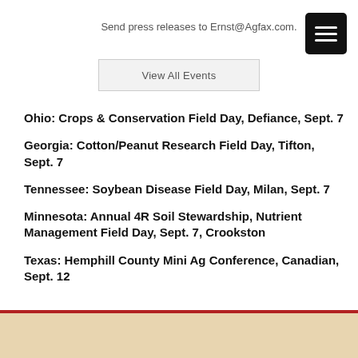Send press releases to Ernst@Agfax.com.
View All Events
Ohio: Crops & Conservation Field Day, Defiance, Sept. 7
Georgia: Cotton/Peanut Research Field Day, Tifton, Sept. 7
Tennessee: Soybean Disease Field Day, Milan, Sept. 7
Minnesota: Annual 4R Soil Stewardship, Nutrient Management Field Day, Sept. 7, Crookston
Texas: Hemphill County Mini Ag Conference, Canadian, Sept. 12